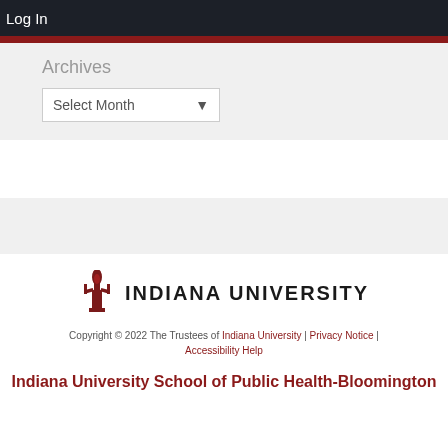Log In
Archives
Select Month
[Figure (logo): Indiana University trident torch logo with text INDIANA UNIVERSITY]
Copyright © 2022 The Trustees of Indiana University | Privacy Notice | Accessibility Help
Indiana University School of Public Health-Bloomington